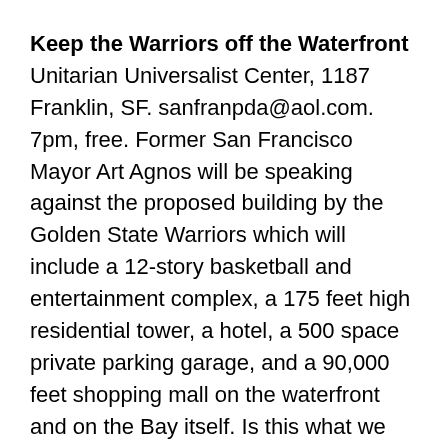Keep the Warriors off the Waterfront Unitarian Universalist Center, 1187 Franklin, SF. sanfranpda@aol.com. 7pm, free. Former San Francisco Mayor Art Agnos will be speaking against the proposed building by the Golden State Warriors which will include a 12-story basketball and entertainment complex, a 175 feet high residential tower, a hotel, a 500 space private parking garage, and a 90,000 feet shopping mall on the waterfront and on the Bay itself. Is this what we want for San Francisco's future? Come hear Agnos challenge the corporate vision of our city.